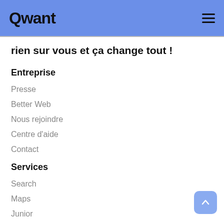Qwant
rien sur vous et ça change tout !
Entreprise
Presse
Better Web
Nous rejoindre
Centre d'aide
Contact
Services
Search
Maps
Junior
Publicité